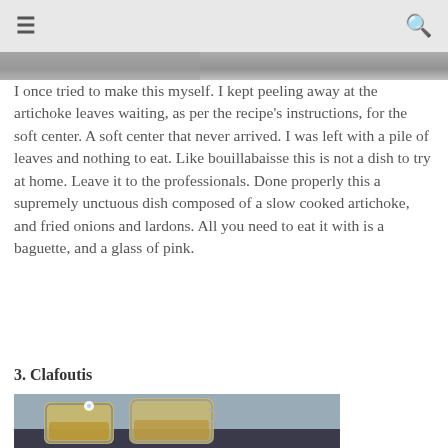≡  🔍
[Figure (photo): Top edge of a food photo, partially visible at the top of the page]
I once tried to make this myself. I kept peeling away at the artichoke leaves waiting, as per the recipe's instructions, for the soft center. A soft center that never arrived. I was left with a pile of leaves and nothing to eat. Like bouillabaisse this is not a dish to try at home. Leave it to the professionals. Done properly this a supremely unctuous dish composed of a slow cooked artichoke, and fried onions and lardons. All you need to eat it with is a baguette, and a glass of pink.
3. Clafoutis
[Figure (photo): Photo of two glass jars containing clafoutis dessert, with a small white flower decoration, sitting on a dark surface outdoors]